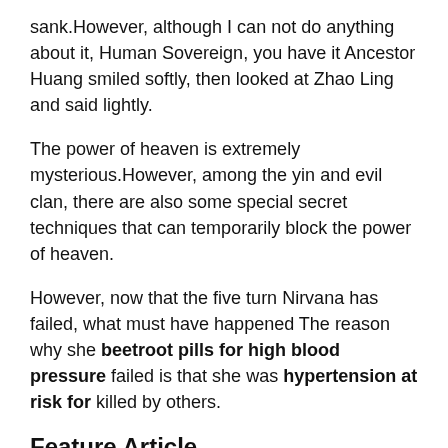sank.However, although I can not do anything about it, Human Sovereign, you have it Ancestor Huang smiled softly, then looked at Zhao Ling and said lightly.
The power of heaven is extremely mysterious.However, among the yin and evil clan, there are also some special secret techniques that can temporarily block the power of heaven.
However, now that the five turn Nirvana has failed, what must have happened The reason why she beetroot pills for high blood pressure failed is that she was hypertension at risk for killed by others.
Feature Article
https://www.healthline.com/health/cold-flu/mucinex-mucinex-DM
https://www.medicalnewstoday.com/articles/321528